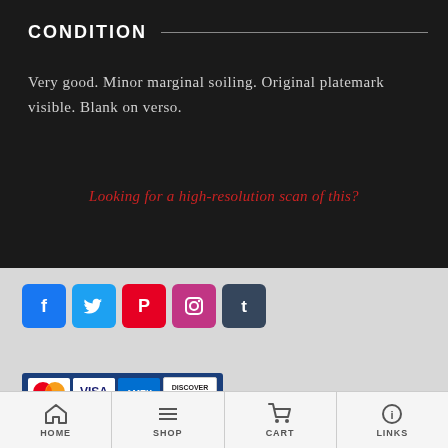CONDITION
Very good. Minor marginal soiling. Original platemark visible. Blank on verso.
Looking for a high-resolution scan of this?
[Figure (other): Social media icons: Facebook, Twitter, Pinterest, Instagram, Tumblr]
[Figure (logo): PayPal logo with MasterCard, Visa, AMEX, Discover payment card logos]
HOME  SHOP  CART  LINKS